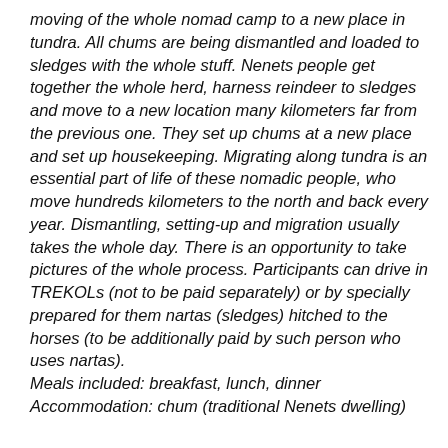moving of the whole nomad camp to a new place in tundra. All chums are being dismantled and loaded to sledges with the whole stuff. Nenets people get together the whole herd, harness reindeer to sledges and move to a new location many kilometers far from the previous one. They set up chums at a new place and set up housekeeping. Migrating along tundra is an essential part of life of these nomadic people, who move hundreds kilometers to the north and back every year. Dismantling, setting-up and migration usually takes the whole day. There is an opportunity to take pictures of the whole process. Participants can drive in TREKOLs (not to be paid separately) or by specially prepared for them nartas (sledges) hitched to the horses (to be additionally paid by such person who uses nartas). Meals included: breakfast, lunch, dinner Accommodation: chum (traditional Nenets dwelling)